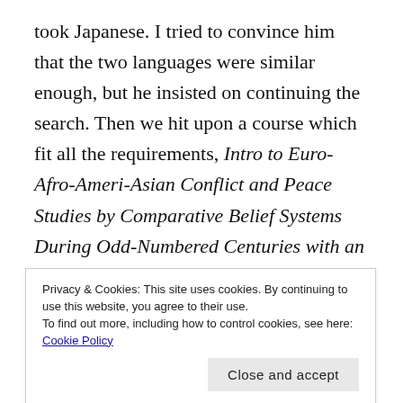took Japanese. I tried to convince him that the two languages were similar enough, but he insisted on continuing the search. Then we hit upon a course which fit all the requirements, Intro to Euro-Afro-Ameri-Asian Conflict and Peace Studies by Comparative Belief Systems During Odd-Numbered Centuries with an Emphasis on Alcohol Brewing. It certainly fit the non-understandable requirement.
I wanted my son to sign up right away, but he thought there might be something else. We looked at the class
Privacy & Cookies: This site uses cookies. By continuing to use this website, you agree to their use. To find out more, including how to control cookies, see here: Cookie Policy
Close and accept
I calmly said all right and went back to the screen, but